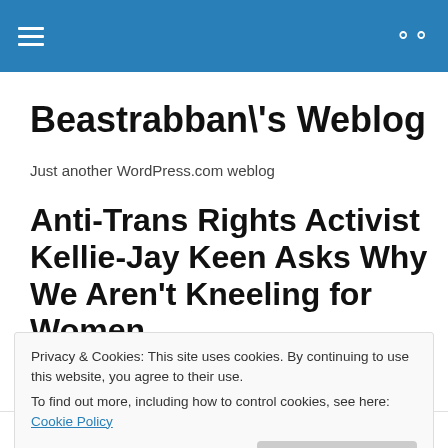≡  🔍
Beastrabban\'s Weblog
Just another WordPress.com weblog
Anti-Trans Rights Activist Kellie-Jay Keen Asks Why We Aren't Kneeling for Women
Privacy & Cookies: This site uses cookies. By continuing to use this website, you agree to their use.
To find out more, including how to control cookies, see here: Cookie Policy
[Close and accept]
that transpeople aren't the members of the sex they